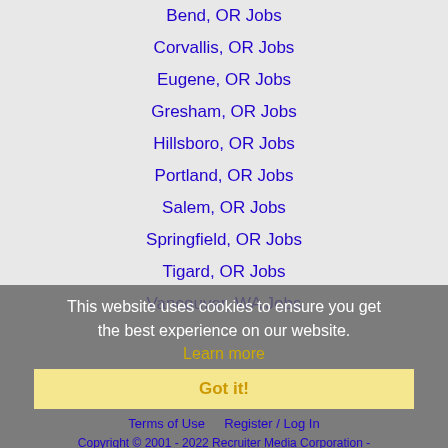Bend, OR Jobs
Corvallis, OR Jobs
Eugene, OR Jobs
Gresham, OR Jobs
Hillsboro, OR Jobs
Portland, OR Jobs
Salem, OR Jobs
Springfield, OR Jobs
Tigard, OR Jobs
Vancouver, WA Jobs
This website uses cookies to ensure you get the best experience on our website. Learn more
Got it!
Home  Profile and Resume  Browse Jobs  Employers  Other Cities  Clients List  About Us  Contact Us  Help  Terms of Use  Register / Log In  Copyright © 2001 - 2022 Recruiter Media Corporation -  Beaver Creek Jobs